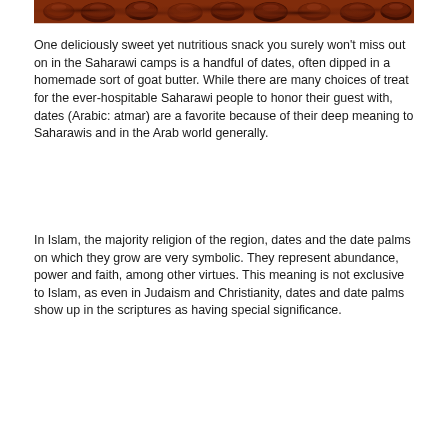[Figure (photo): Close-up photo of dates (the fruit), dark reddish-brown in color, clustered together]
One deliciously sweet yet nutritious snack you surely won't miss out on in the Saharawi camps is a handful of dates, often dipped in a homemade sort of goat butter. While there are many choices of treat for the ever-hospitable Saharawi people to honor their guest with, dates (Arabic: atmar) are a favorite because of their deep meaning to Saharawis and in the Arab world generally.
In Islam, the majority religion of the region, dates and the date palms on which they grow are very symbolic. They represent abundance, power and faith, among other virtues. This meaning is not exclusive to Islam, as even in Judaism and Christianity, dates and date palms show up in the scriptures as having special significance.